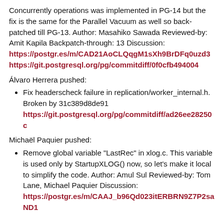Concurrently operations was implemented in PG-14 but the fix is the same for the Parallel Vacuum as well so back-patched till PG-13. Author: Masahiko Sawada Reviewed-by: Amit Kapila Backpatch-through: 13 Discussion: https://postgr.es/m/CAD21AoCLQqgM1sXh9BrDFq0uzd3 https://git.postgresql.org/pg/commitdiff/0f0cfb494004
Álvaro Herrera pushed:
Fix headerscheck failure in replication/worker_internal.h. Broken by 31c389d8de91 https://git.postgresql.org/pg/commitdiff/ad26ee28250c
Michaël Paquier pushed:
Remove global variable "LastRec" in xlog.c. This variable is used only by StartupXLOG() now, so let's make it local to simplify the code. Author: Amul Sul Reviewed-by: Tom Lane, Michael Paquier Discussion: https://postgr.es/m/CAAJ_b96Qd023itERBRN9Z7P2saND1